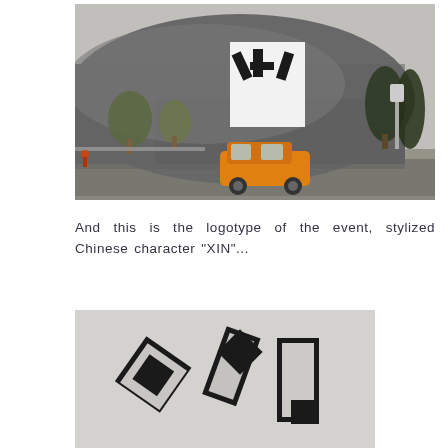[Figure (photo): Exterior photo of a large modern building with curved metallic facade, a large promotional banner with stylized 'XIN' logotype visible on the building, trees lining the street, an orange taxi on the road in the foreground, overcast sky.]
And this is the logotype of the event, stylized Chinese character "XIN"...
[Figure (photo): Close-up photograph of the stylized Chinese character 'XIN' logotype — geometric black shapes on a light grey background, showing rotated diamond/square forms.]